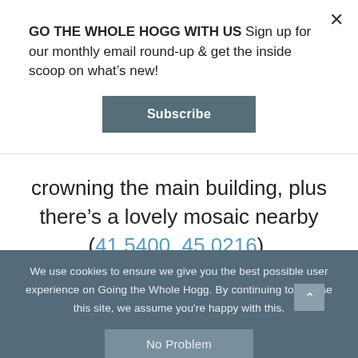GO THE WHOLE HOGG WITH US Sign up for our monthly email round-up & get the inside scoop on what's new!
Subscribe
crowning the main building, plus there’s a lovely mosaic nearby (41.5400, 45.0216).
[Figure (photo): Colorful mosaic strip showing abstract figures and shapes in teal, brown, and cream colors]
We use cookies to ensure we give you the best possible user experience on Going the Whole Hogg. By continuing to browse this site, we assume you're happy with this
No Problem